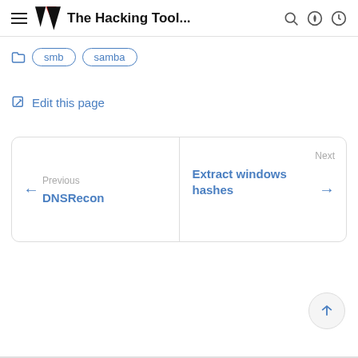The Hacking Tool...
smb
samba
Edit this page
Previous
DNSRecon
Next
Extract windows hashes